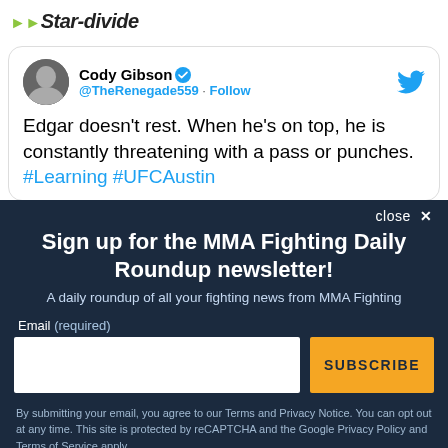Star-divide
[Figure (screenshot): Embedded tweet from Cody Gibson (@TheRenegade559) with verified badge and Twitter bird icon. Tweet text: Edgar doesn't rest. When he's on top, he is constantly threatening with a pass or punches. #Learning #UFCAustin]
Sign up for the MMA Fighting Daily Roundup newsletter!
A daily roundup of all your fighting news from MMA Fighting
Email (required)
By submitting your email, you agree to our Terms and Privacy Notice. You can opt out at any time. This site is protected by reCAPTCHA and the Google Privacy Policy and Terms of Service apply.